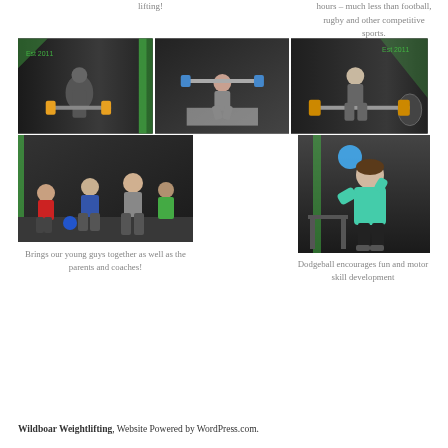lifting!
hours – much less than football, rugby and other competitive sports.
[Figure (photo): Three weightlifting gym photos in a top row: left shows people lifting barbells in a dark gym with green stripe accents; center shows a woman performing a squat with barbell; right shows a woman in squat position with barbell and weights.]
[Figure (photo): Photo of young athletes in a gym doing exercises on the floor, with coaches nearby.]
[Figure (photo): Photo of a girl in a teal hoodie holding up a blue dodgeball in a gym.]
Brings our young guys together as well as the parents and coaches!
Dodgeball encourages fun and motor skill development
Wildboar Weightlifting, Website Powered by WordPress.com.